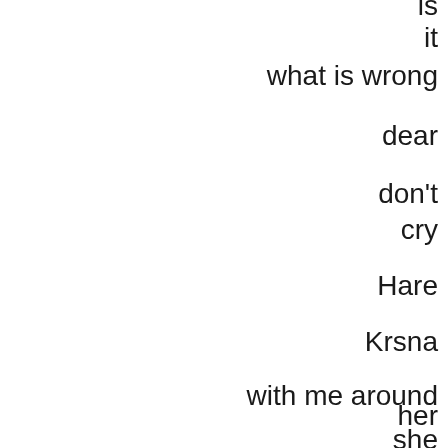is
it
what is wrong

dear

don't
cry

Hare

Krsna

with me around

her
she